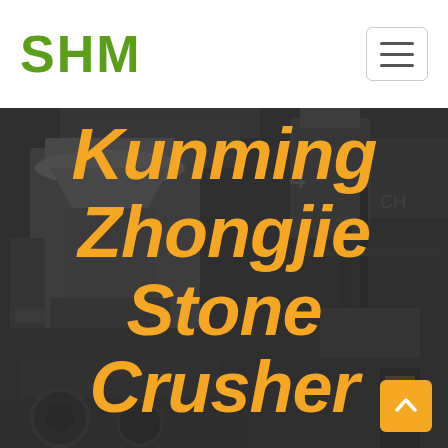SHM
[Figure (photo): Industrial stone crusher machinery in a plant, dark background with heavy equipment visible]
Kunming Zhongjie Stone Crusher